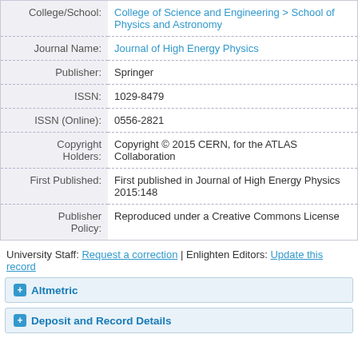| Field | Value |
| --- | --- |
| College/School: | College of Science and Engineering > School of Physics and Astronomy |
| Journal Name: | Journal of High Energy Physics |
| Publisher: | Springer |
| ISSN: | 1029-8479 |
| ISSN (Online): | 0556-2821 |
| Copyright Holders: | Copyright © 2015 CERN, for the ATLAS Collaboration |
| First Published: | First published in Journal of High Energy Physics 2015:148 |
| Publisher Policy: | Reproduced under a Creative Commons License |
University Staff: Request a correction | Enlighten Editors: Update this record
Altmetric
Deposit and Record Details